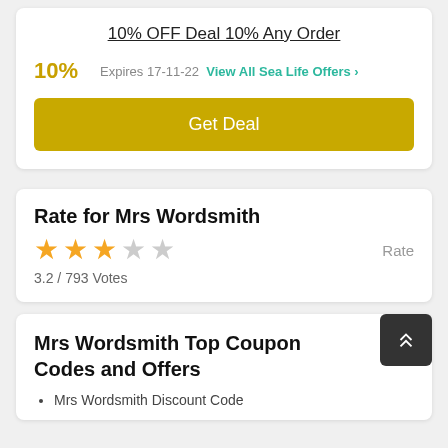10% OFF Deal 10% Any Order
10%   Expires 17-11-22  View All Sea Life Offers >
Get Deal
Rate for Mrs Wordsmith
3.2 / 793 Votes
Rate
Mrs Wordsmith Top Coupon Codes and Offers
Mrs Wordsmith Discount Code